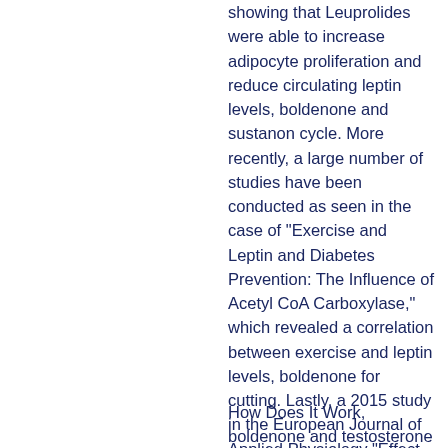showing that Leuprolides were able to increase adipocyte proliferation and reduce circulating leptin levels, boldenone and sustanon cycle. More recently, a large number of studies have been conducted as seen in the case of "Exercise and Leptin and Diabetes Prevention: The Influence of Acetyl CoA Carboxylase," which revealed a correlation between exercise and leptin levels, boldenone for cutting. Lastly, a 2015 study in the European Journal of Applied Physiology "Effect of Acetyl CoA Carboxylase Supplementation on Oxidative Stress and Health in Healthy Humans," was used to show that Acetyl CoA is more effective to help maintain and increase weight loss than high dose testosterone.
How Does It Work, boldenone and testosterone cycle?